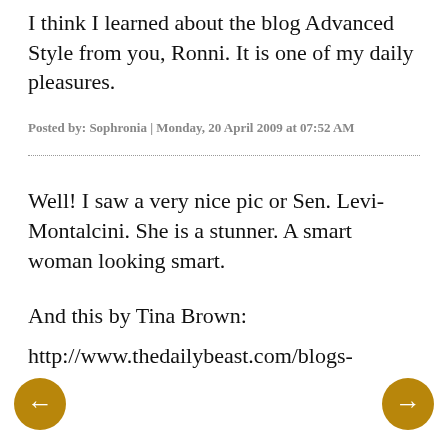I think I learned about the blog Advanced Style from you, Ronni. It is one of my daily pleasures.
Posted by: Sophronia | Monday, 20 April 2009 at 07:52 AM
Well! I saw a very nice pic or Sen. Levi-Montalcini. She is a stunner. A smart woman looking smart.
And this by Tina Brown:
http://www.thedailybeast.com/blogs-